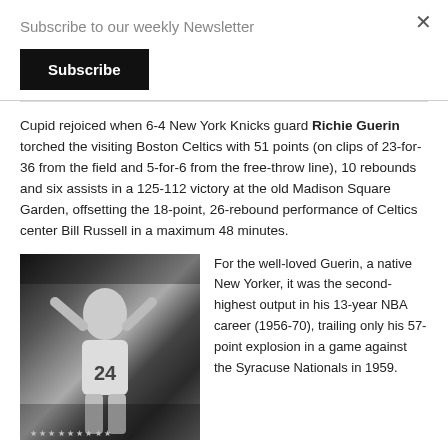Subscribe to our weekly Newsletter
Subscribe
Cupid rejoiced when 6-4 New York Knicks guard Richie Guerin torched the visiting Boston Celtics with 51 points (on clips of 23-for-36 from the field and 5-for-6 from the free-throw line), 10 rebounds and six assists in a 125-112 victory at the old Madison Square Garden, offsetting the 18-point, 26-rebound performance of Celtics center Bill Russell in a maximum 48 minutes.
[Figure (photo): Black and white photo of a basketball player wearing jersey number 24, arms raised, in a game setting]
For the well-loved Guerin, a native New Yorker, it was the second-highest output in his 13-year NBA career (1956-70), trailing only his 57-point explosion in a game against the Syracuse Nationals in 1959.